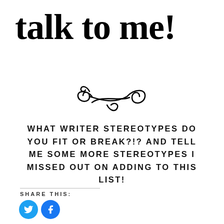talk to me!
[Figure (illustration): Decorative ornamental swirl/flourish divider in black]
WHAT WRITER STEREOTYPES DO YOU FIT OR BREAK?!? AND TELL ME SOME MORE STEREOTYPES I MISSED OUT ON ADDING TO THIS LIST!
SHARE THIS:
[Figure (logo): Twitter and Facebook social share buttons as blue circles with white icons]